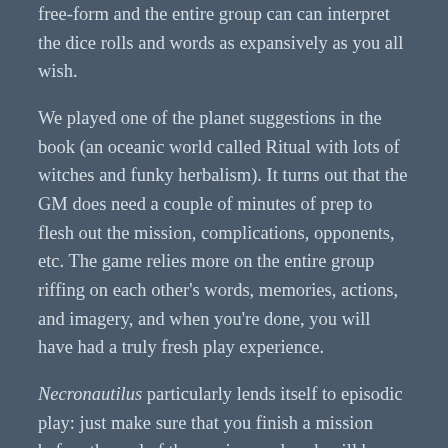free-form and the entire group can can interpret the dice rolls and words as expansively as you all wish.
We played one of the planet suggestions in the book (an oceanic world called Ritual with lots of witches and funky herbalism). It turns out that the GM does need a couple of minutes of prep to flesh out the mission, complications, opponents, etc. The game relies more on the entire group riffing on each other’s words, memories, actions, and imagery, and when you’re done, you will have had a truly fresh play experience.
Necronautilus particularly lends itself to episodic play: just make sure that you finish a mission before the end of the session, and each will be self-contained. So if you decide on a campaign, it’s okay if the group